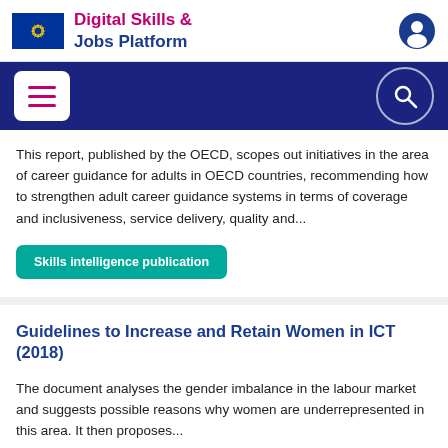Digital Skills & Jobs Platform
This report, published by the OECD, scopes out initiatives in the area of career guidance for adults in OECD countries, recommending how to strengthen adult career guidance systems in terms of coverage and inclusiveness, service delivery, quality and...
Skills intelligence publication
Guidelines to Increase and Retain Women in ICT (2018)
The document analyses the gender imbalance in the labour market and suggests possible reasons why women are underrepresented in this area. It then proposes...